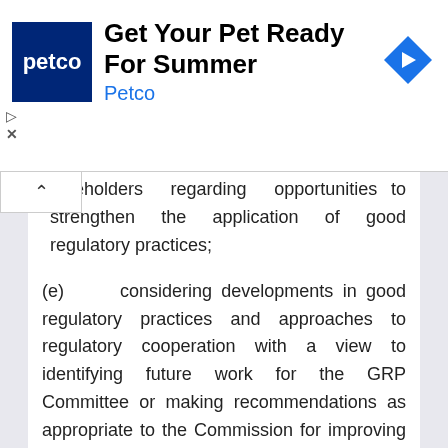[Figure (other): Advertisement banner for Petco: 'Get Your Pet Ready For Summer' with Petco logo and navigation arrow icon]
stakeholders regarding opportunities to strengthen the application of good regulatory practices;
(e)      considering developments in good regulatory practices and approaches to regulatory cooperation with a view to identifying future work for the GRP Committee or making recommendations as appropriate to the Commission for improving the operation and implementation of this Chapter; and